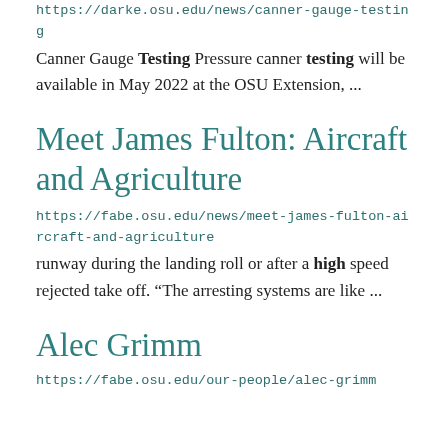https://darke.osu.edu/news/canner-gauge-testing
Canner Gauge Testing Pressure canner testing will be available in May 2022 at the OSU Extension, ...
Meet James Fulton: Aircraft and Agriculture
https://fabe.osu.edu/news/meet-james-fulton-aircraft-and-agriculture
runway during the landing roll or after a high speed rejected take off. “The arresting systems are like ...
Alec Grimm
https://fabe.osu.edu/our-people/alec-grimm